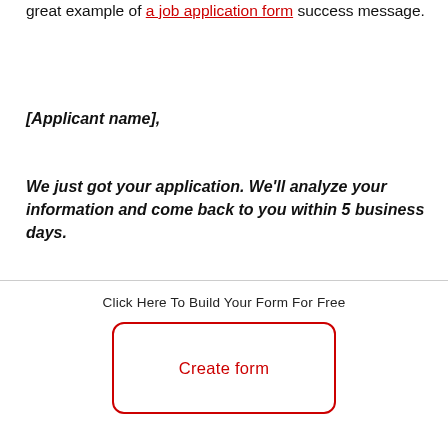great example of a job application form success message.
[Applicant name],
We just got your application. We'll analyze your information and come back to you within 5 business days.
In case you're approved on this first step, you'll be invited to an in-person interview with our team.
Best wishes,
Click Here To Build Your Form For Free
Create form